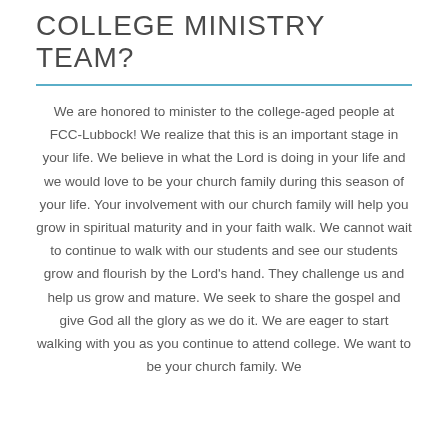COLLEGE MINISTRY TEAM?
We are honored to minister to the college-aged people at FCC-Lubbock! We realize that this is an important stage in your life. We believe in what the Lord is doing in your life and we would love to be your church family during this season of your life. Your involvement with our church family will help you grow in spiritual maturity and in your faith walk. We cannot wait to continue to walk with our students and see our students grow and flourish by the Lord's hand. They challenge us and help us grow and mature. We seek to share the gospel and give God all the glory as we do it. We are eager to start walking with you as you continue to attend college. We want to be your church family. We